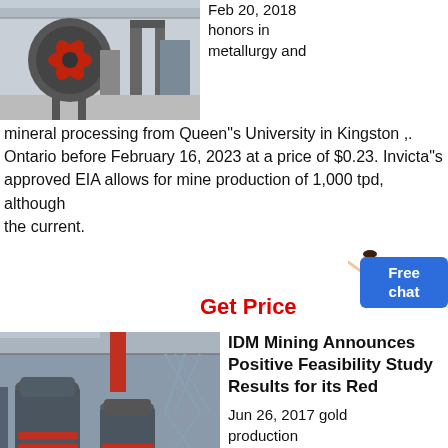[Figure (photo): Industrial fan or blower equipment in a factory/warehouse setting, with red fan blades visible.]
Feb 20, 2018 honors in metallurgy and mineral processing from Queen"s University in Kingston , Ontario before February 16, 2023 at a price of $0.23. Invicta"s approved EIA allows for mine production of 1,000 tpd, although the current.
Get Price
[Figure (photo): Large industrial cone crushers or grinding mills on a factory floor with high ceiling and structural steel framework.]
IDM Mining Announces Positive Feasibility Study Results for its Red
Jun 26, 2017 gold production